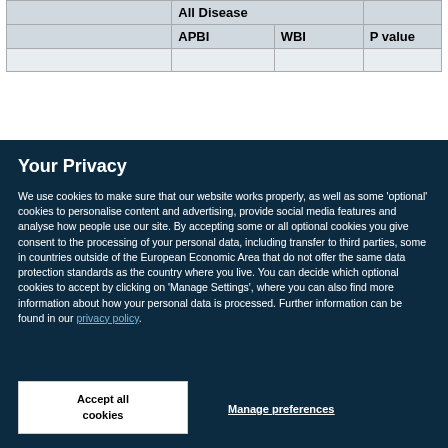|  | All Disease |  |  |
| --- | --- | --- | --- |
|  | APBI | WBI | P value |
|  |  |  |  |
Your Privacy
We use cookies to make sure that our website works properly, as well as some 'optional' cookies to personalise content and advertising, provide social media features and analyse how people use our site. By accepting some or all optional cookies you give consent to the processing of your personal data, including transfer to third parties, some in countries outside of the European Economic Area that do not offer the same data protection standards as the country where you live. You can decide which optional cookies to accept by clicking on 'Manage Settings', where you can also find more information about how your personal data is processed. Further information can be found in our privacy policy.
Accept all cookies
Manage preferences